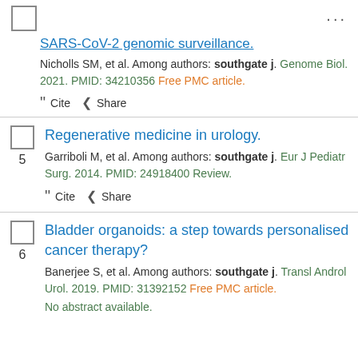[Figure (other): Checkbox (unchecked) in top left corner]
...
SARS-CoV-2 genomic surveillance.
Nicholls SM, et al. Among authors: southgate j. Genome Biol. 2021. PMID: 34210356 Free PMC article.
" Cite  < Share
Regenerative medicine in urology.
Garriboli M, et al. Among authors: southgate j. Eur J Pediatr Surg. 2014. PMID: 24918400 Review.
" Cite  < Share
Bladder organoids: a step towards personalised cancer therapy?
Banerjee S, et al. Among authors: southgate j. Transl Androl Urol. 2019. PMID: 31392152 Free PMC article. No abstract available.